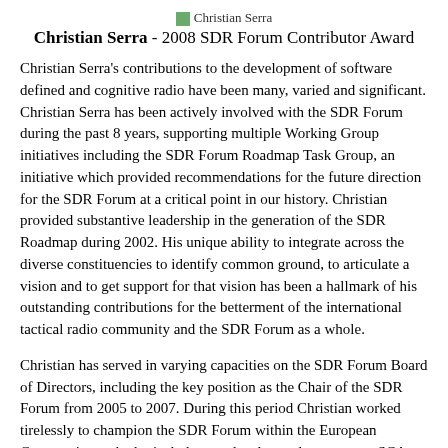[Figure (photo): Small thumbnail image icon labeled 'Christian Serra']
Christian Serra - 2008 SDR Forum Contributor Award
Christian Serra's contributions to the development of software defined and cognitive radio have been many, varied and significant. Christian Serra has been actively involved with the SDR Forum during the past 8 years, supporting multiple Working Group initiatives including the SDR Forum Roadmap Task Group, an initiative which provided recommendations for the future direction for the SDR Forum at a critical point in our history. Christian provided substantive leadership in the generation of the SDR Roadmap during 2002. His unique ability to integrate across the diverse constituencies to identify common ground, to articulate a vision and to get support for that vision has been a hallmark of his outstanding contributions for the betterment of the international tactical radio community and the SDR Forum as a whole.
Christian has served in varying capacities on the SDR Forum Board of Directors, including the key position as the Chair of the SDR Forum from 2005 to 2007. During this period Christian worked tirelessly to champion the SDR Forum within the European Community as the logical place to develop and promote an SCA based architecture supporting the needs of the